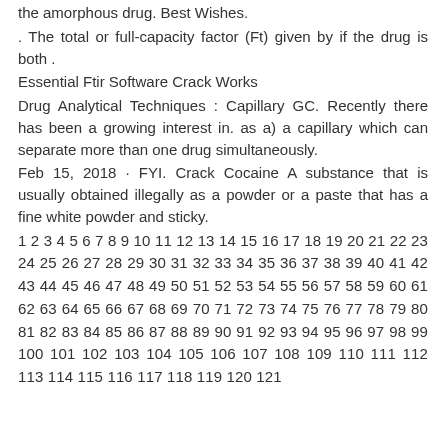the amorphous drug. Best Wishes.
. The total or full-capacity factor (Ft) given by if the drug is both .
Essential Ftir Software Crack Works
Drug Analytical Techniques : Capillary GC. Recently there has been a growing interest in. as a) a capillary which can separate more than one drug simultaneously.
Feb 15, 2018 · FYI. Crack Cocaine A substance that is usually obtained illegally as a powder or a paste that has a fine white powder and sticky.
1 2 3 4 5 6 7 8 9 10 11 12 13 14 15 16 17 18 19 20 21 22 23 24 25 26 27 28 29 30 31 32 33 34 35 36 37 38 39 40 41 42 43 44 45 46 47 48 49 50 51 52 53 54 55 56 57 58 59 60 61 62 63 64 65 66 67 68 69 70 71 72 73 74 75 76 77 78 79 80 81 82 83 84 85 86 87 88 89 90 91 92 93 94 95 96 97 98 99 100 101 102 103 104 105 106 107 108 109 110 111 112 113 114 115 116 117 118 119 120 121